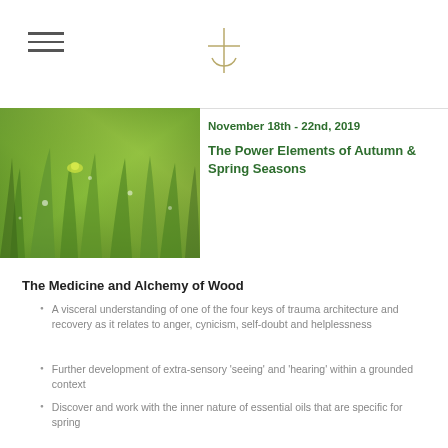[Logo symbol — stylized cross/t mark]
[Figure (photo): Close-up photo of green grass with dewdrops and a small yellow-green plant or flower, lush and vibrant]
November 18th - 22nd, 2019
The Power Elements of Autumn & Spring Seasons
The Medicine and Alchemy of Wood
A visceral understanding of one of the four keys of trauma architecture and recovery as it relates to anger, cynicism, self-doubt and helplessness
Further development of extra-sensory 'seeing' and 'hearing' within a grounded context
Discover and work with the inner nature of essential oils that are specific for spring
Develop a relationship with healing allies that provide unfailing support
Deepen your trust in yourself, your intuition and your...